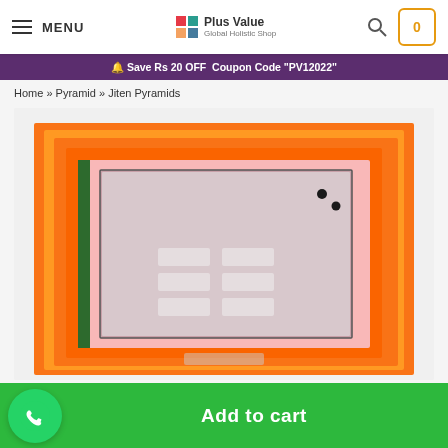MENU | Plus Value Logo | Search | Cart (0)
🔔 Save Rs 20 OFF  Coupon Code "PV12022"
Home » Pyramid » Jiten Pyramids
[Figure (photo): Orange pyramid product with stacked layers and a silver/pink plate showing grid-like symbols in the center]
Add to cart